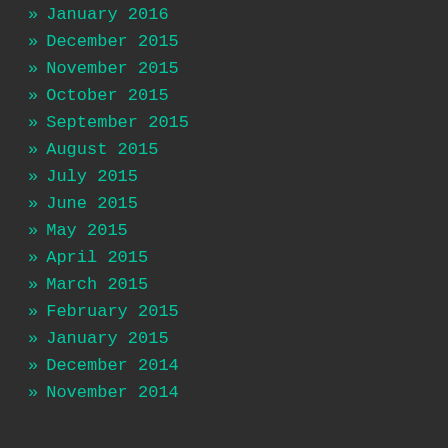» January 2016
» December 2015
» November 2015
» October 2015
» September 2015
» August 2015
» July 2015
» June 2015
» May 2015
» April 2015
» March 2015
» February 2015
» January 2015
» December 2014
» November 2014